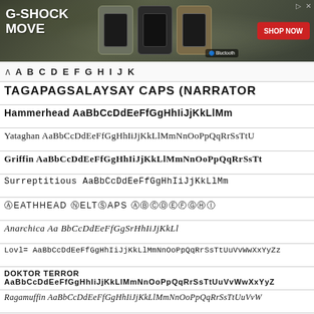[Figure (photo): G-SHOCK MOVE advertisement banner showing three G-Shock watches on camouflage background with SHOP NOW button]
TAGAPAGSALAYSAY CAPS (NARRATOR
Hammerhead AaBbCcDdEeFfGgHhIiJjKkLlMm
Yataghan AaBbCcDdEeFfGgHhIiJjKkLlMmNnOoPpQqRrSsTtU
Griffin AaBbCcDdEeFfGgHhIiJjKkLlMmNnOoPpQqRrSsTt
Surreptitious AaBbCcDdEeFfGgHhIiJjKkLlMm
DEATHHEAD BELT CAPS AaBbCcDdEeFfGgHhIi
Anarchica Aa BbCcDdEeFfGgSrHhIiJjKkLl
Lovl= AaBbCcDdEeFfGgHhIiJjKkLlMmNnOoPpQqRrSsTtUuVvWwXxYyZz
DOKTOR TERROR AaBbCcDdEeFfGgHhIiJjKkLlMmNnOoPpQqRrSsTtUuVvWwXxYyZ
Ragamuffin AaBbCcDdEeFfGgHhIiJjKkLlMmNnOoPpQqRrSsTtUuVvW